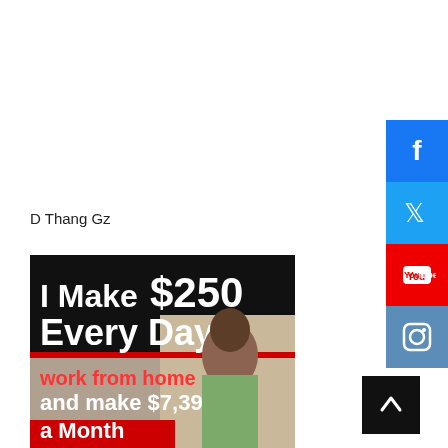D Thang Gz
[Figure (infographic): Ad banner: 'I Make $250 Every Day! work from home and make $7,397 a Month' with image of smiling woman at laptop]
[Figure (infographic): Social media sidebar buttons: Facebook (blue f), Twitter (blue bird), YouTube (red You/tube logo), Instagram (camera icon)]
[Figure (infographic): Back-to-top button: dark square with upward arrow]